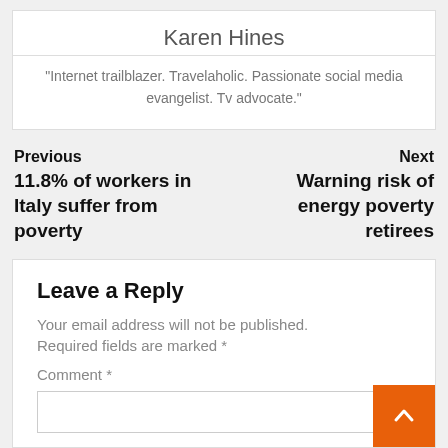Karen Hines
"Internet trailblazer. Travelaholic. Passionate social media evangelist. Tv advocate."
Previous
11.8% of workers in Italy suffer from poverty
Next
Warning risk of energy poverty retirees
Leave a Reply
Your email address will not be published.
Required fields are marked *
Comment *